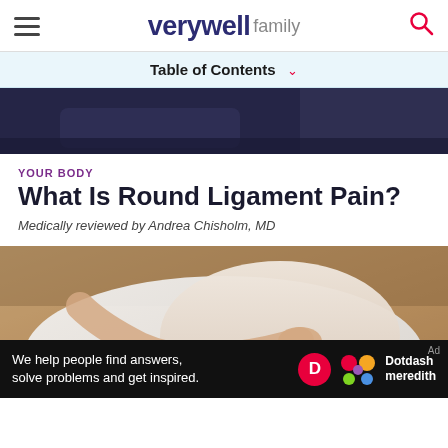verywell family
Table of Contents
[Figure (photo): Partial photo of a person holding a phone, dark blue background, cropped at top]
YOUR BODY
What Is Round Ligament Pain?
Medically reviewed by Andrea Chisholm, MD
[Figure (photo): Close-up photo of a pregnant woman in a white top lying down, hand resting on her belly]
We help people find answers, solve problems and get inspired.